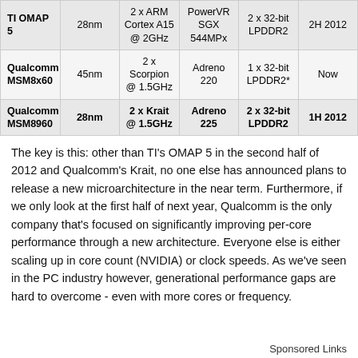| Chip | Process | CPU | GPU | Memory | Avail. |
| --- | --- | --- | --- | --- | --- |
| TI OMAP 5 | 28nm | 2 x ARM Cortex A15 @ 2GHz | PowerVR SGX 544MPx | 2 x 32-bit LPDDR2 | 2H 2012 |
| Qualcomm MSM8x60 | 45nm | 2 x Scorpion @ 1.5GHz | Adreno 220 | 1 x 32-bit LPDDR2* | Now |
| Qualcomm MSM8960 | 28nm | 2 x Krait @ 1.5GHz | Adreno 225 | 2 x 32-bit LPDDR2 | 1H 2012 |
The key is this: other than TI's OMAP 5 in the second half of 2012 and Qualcomm's Krait, no one else has announced plans to release a new microarchitecture in the near term. Furthermore, if we only look at the first half of next year, Qualcomm is the only company that's focused on significantly improving per-core performance through a new architecture. Everyone else is either scaling up in core count (NVIDIA) or clock speeds. As we've seen in the PC industry however, generational performance gaps are hard to overcome - even with more cores or frequency.
Sponsored Links